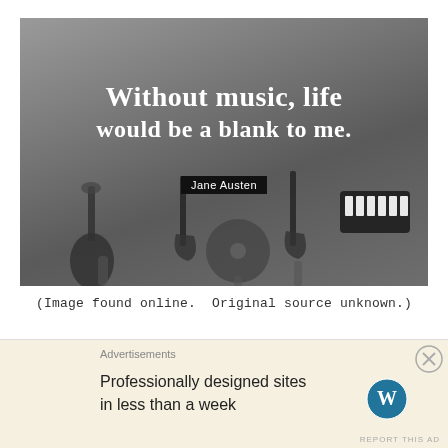[Figure (photo): Black and white photo of people holding up musical instruments (guitars, keyboard, vinyl record) against a grey sky background, with a quote overlaid: 'Without music, life would be a blank to me.' attributed to Jane Austen]
(Image found online.  Original source unknown.)
I know we are in a serious situation, but I need a break
Advertisements
Professionally designed sites in less than a week